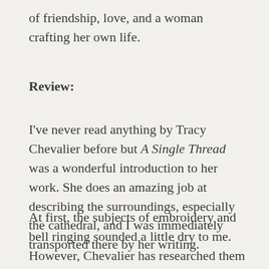of friendship, love, and a woman crafting her own life.
Review:
I've never read anything by Tracy Chevalier before but A Single Thread was a wonderful introduction to her work. She does an amazing job at describing the surroundings, especially the cathedral, and I was immediately transported there by her writing.
At first, the subjects of embroidery and bell ringing sounded a little dry to me. However, Chevalier has researched them so well that she is able to make them incredibly interesting and convey to the reader how important these